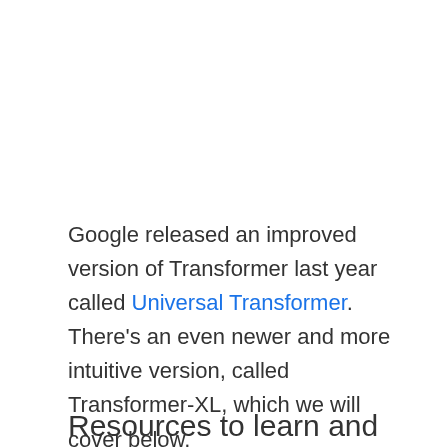Google released an improved version of Transformer last year called Universal Transformer. There's an even newer and more intuitive version, called Transformer-XL, which we will cover below.
Resources to learn and read